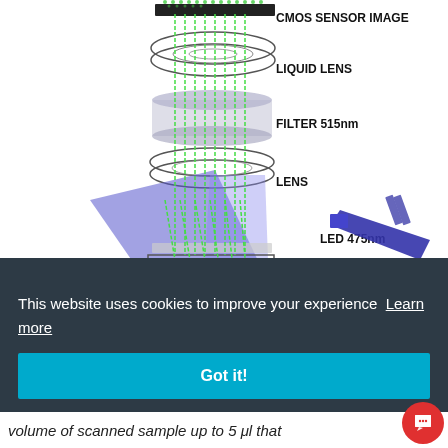[Figure (schematic): Optical microscope/fluorescence imaging system schematic showing layered components from top to bottom: CMOS sensor image, liquid lens, filter 515nm, lens, LED 475nm excitation (angled from side), filter 475/20nm, and cellchip at the bottom. Green vertical lines represent light path. A blue angled beam represents LED excitation light entering from the right side.]
This website uses cookies to improve your experience  Learn more
Got it!
volume of scanned sample up to 5 μl that